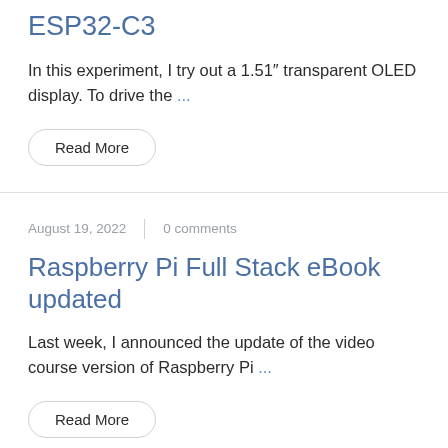ESP32-C3
In this experiment, I try out a 1.51″ transparent OLED display. To drive the ...
Read More
August 19, 2022   0  comments
Raspberry Pi Full Stack eBook updated
Last week, I announced the update of the video course version of Raspberry Pi ...
Read More